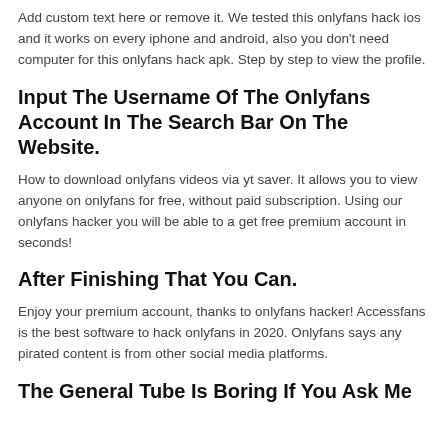Add custom text here or remove it. We tested this onlyfans hack ios and it works on every iphone and android, also you don't need computer for this onlyfans hack apk. Step by step to view the profile.
Input The Username Of The Onlyfans Account In The Search Bar On The Website.
How to download onlyfans videos via yt saver. It allows you to view anyone on onlyfans for free, without paid subscription. Using our onlyfans hacker you will be able to a get free premium account in seconds!
After Finishing That You Can.
Enjoy your premium account, thanks to onlyfans hacker! Accessfans is the best software to hack onlyfans in 2020. Onlyfans says any pirated content is from other social media platforms.
The General Tube Is Boring If You Ask Me